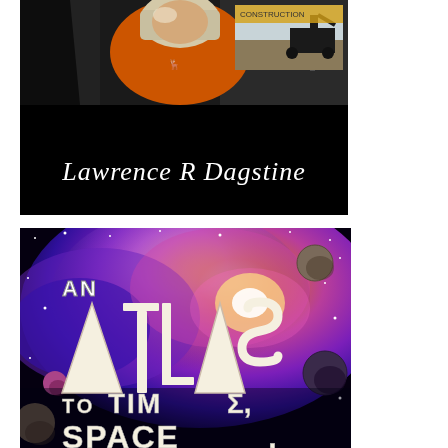[Figure (photo): Book cover with black background, photo of a person (woman with light hair wearing an orange shirt) at top, with small inset image of construction machinery. Below the photo, author name 'Lawrence R Dagstine' in cursive/script white text on black background.]
[Figure (photo): Book cover for 'An Atlas to Time, Space,' showing large stylized white retro text on a colorful cosmic background with purple, blue, pink nebula colors, stars, and planet-like spheres.]